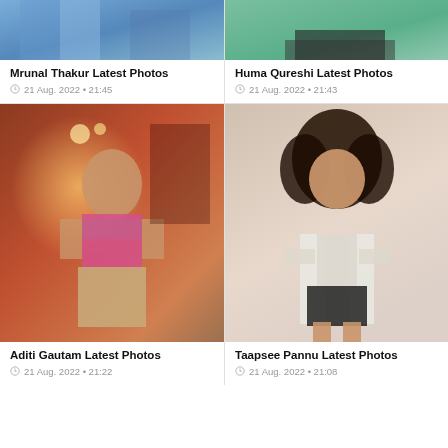[Figure (photo): Mrunal Thakur partial photo - blue/teal clothing, cropped at top]
[Figure (photo): Huma Qureshi partial photo - dark outfit, green background, cropped at top]
Mrunal Thakur Latest Photos
21 Aug. 2022 • 21:45
Huma Qureshi Latest Photos
21 Aug. 2022 • 21:43
[Figure (photo): Aditi Gautam full photo - wearing colorful strapless top and beige skirt, red/warm restaurant background]
[Figure (photo): Taapsee Pannu full photo - curly hair, white blazer and black shorts, pink/neutral background]
Aditi Gautam Latest Photos
21 Aug. 2022 • 21:22
Taapsee Pannu Latest Photos
21 Aug. 2022 • 21:08